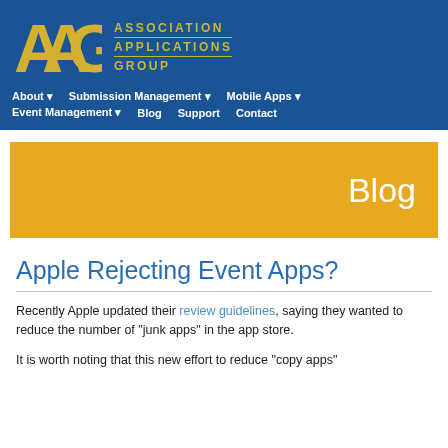AAG Association Applications Group
About | Submission Management | Mobile Apps | Event Management | Blog | Support | Contact
Blog
Apple Rejecting Event Apps?
Recently Apple updated their review guidelines, saying they wanted to reduce the number of "junk apps" in the app store.
It is worth noting that this new effort to reduce "copy apps"